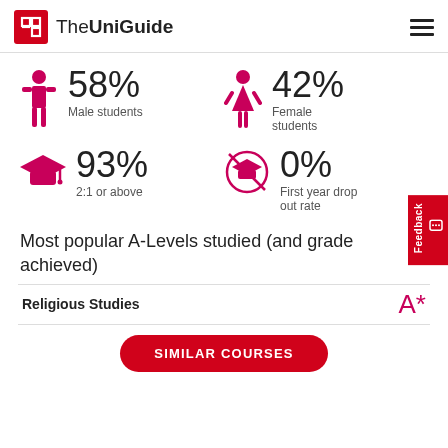The UniGuide
[Figure (infographic): Four stat icons: male figure 58% Male students, female figure 42% Female students, graduation cap 93% 2:1 or above, crossed-out graduation cap 0% First year drop out rate]
Most popular A-Levels studied (and grade achieved)
| Subject | Grade |
| --- | --- |
| Religious Studies | A* |
SIMILAR COURSES